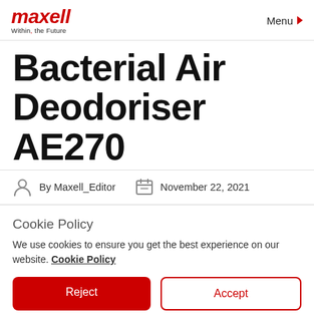maxell Within the Future | Menu
Bacterial Air Deodoriser AE270
By Maxell_Editor | November 22, 2021
Cookie Policy
We use cookies to ensure you get the best experience on our website. Cookie Policy
Reject | Accept